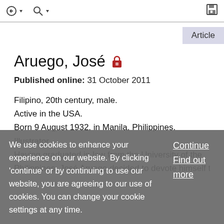toolbar with navigation and save icons
Aruego, José
Published online: 31 October 2011
Filipino, 20th century, male.
Active in the USA.
Born 9 August 1932, in Manila, Philippines.
Illustrator.
Having graduated in law from the University of the Philippines, José Aruego decided to devote himself to
We use cookies to enhance your experience on our website. By clicking 'continue' or by continuing to use our website, you are agreeing to our use of cookies. You can change your cookie settings at any time.